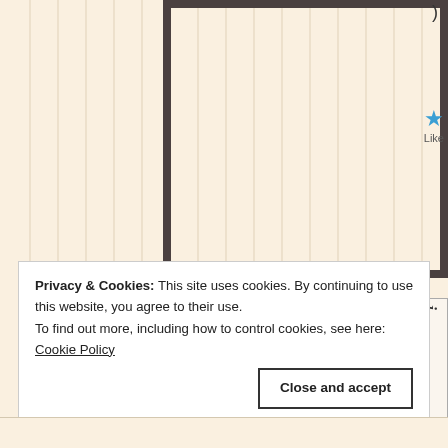[Figure (screenshot): Dark-bordered rectangle visible in upper-right area of the page, partially cropped. A blue star icon and 'Like' text appear to the right of the box.]
[Figure (photo): Profile photo of an older bald man wearing glasses and a light blue shirt, shown in a profile card panel on the right side with a circle connector and vertical italic text reading 'jlmandri...']
Privacy & Cookies: This site uses cookies. By continuing to use this website, you agree to their use.
To find out more, including how to control cookies, see here: Cookie Policy
Close and accept